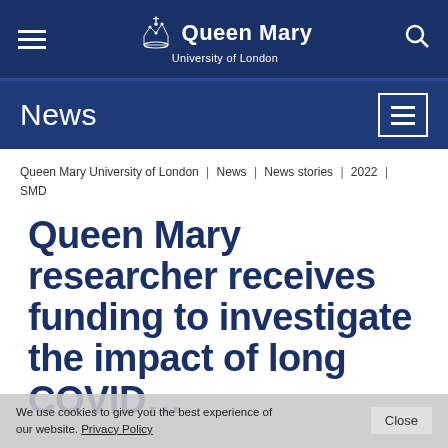Queen Mary University of London
News
Queen Mary University of London | News | News stories | 2022 | SMD
Queen Mary researcher receives funding to investigate the impact of long COVID…
We use cookies to give you the best experience of our website. Privacy Policy  Close